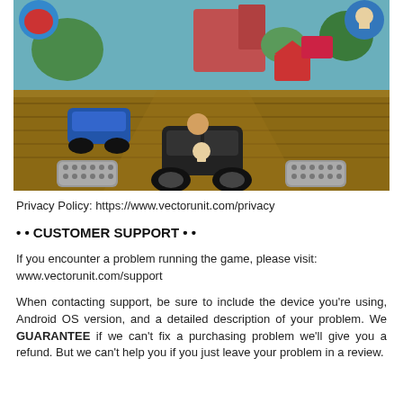[Figure (screenshot): Screenshot of a mobile kart racing game showing karts racing on a wooden track with colorful game UI elements including speed buttons, character icons in corners, and a tropical environment.]
Privacy Policy: https://www.vectorunit.com/privacy
• • CUSTOMER SUPPORT • •
If you encounter a problem running the game, please visit: www.vectorunit.com/support
When contacting support, be sure to include the device you're using, Android OS version, and a detailed description of your problem. We GUARANTEE if we can't fix a purchasing problem we'll give you a refund. But we can't help you if you just leave your problem in a review.